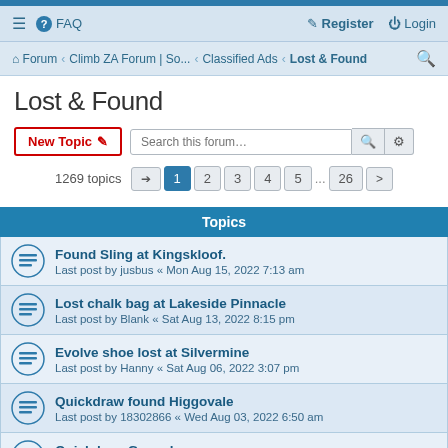≡  FAQ   Register  Login
Forum › Climb ZA Forum | So... › Classified Ads › Lost & Found
Lost & Found
New Topic  Search this forum…
1269 topics   1  2  3  4  5  ...  26  >
| Topics |
| --- |
| Found Sling at Kingskloof. | Last post by jusbus « Mon Aug 15, 2022 7:13 am |
| Lost chalk bag at Lakeside Pinnacle | Last post by Blank « Sat Aug 13, 2022 8:15 pm |
| Evolve shoe lost at Silvermine | Last post by Hanny « Sat Aug 06, 2022 3:07 pm |
| Quickdraw found Higgovale | Last post by 18302866 « Wed Aug 03, 2022 6:50 am |
| Quickdraw Gospel express | Last post by Marras « Wed Jul 20, 2022 8:36 am |